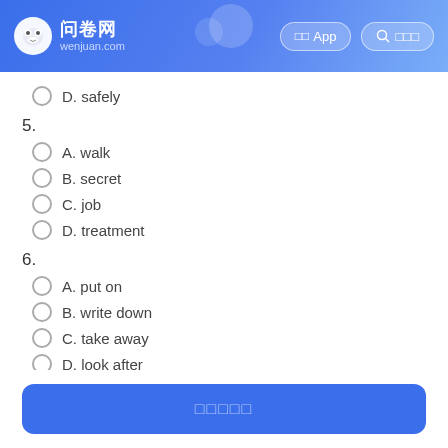问卷网 wenjuan.com — 下载App | 搜索问卷
D. safely
5.
A. walk
B. secret
C. job
D. treatment
6.
A. put on
B. write down
C. take away
D. look after
提交问卷